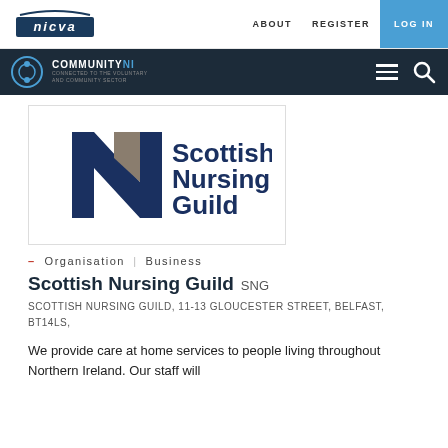nicva | ABOUT | REGISTER | LOG IN
COMMUNITY NI
[Figure (logo): Scottish Nursing Guild logo with stylized N and text 'Scottish Nursing Guild']
– Organisation | Business
Scottish Nursing Guild SNG
SCOTTISH NURSING GUILD, 11-13 GLOUCESTER STREET, BELFAST, BT14LS,
We provide care at home services to people living throughout Northern Ireland. Our staff will